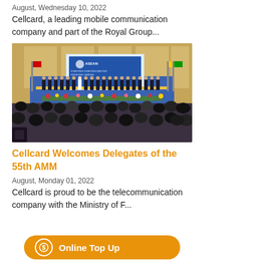August, Wednesday 10, 2022
Cellcard, a leading mobile communication company and part of the Royal Group...
[Figure (photo): ASEAN event photo showing officials standing on a stage with an ASEAN banner and flags, with a large audience seated in the foreground]
Cellcard Welcomes Delegates of the 55th AMM
August, Monday 01, 2022
Cellcard is proud to be the telecommunication company with the Ministry of F...
Online Top Up